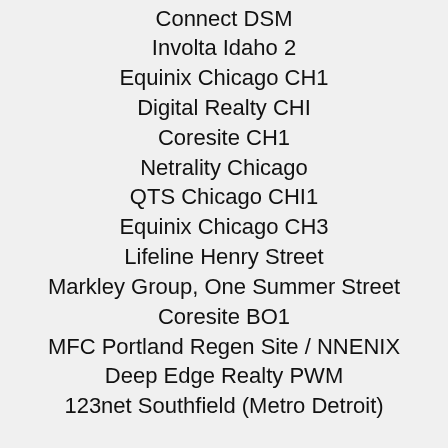Connect DSM
Involta Idaho 2
Equinix Chicago CH1
Digital Realty CHI
Coresite CH1
Netrality Chicago
QTS Chicago CHI1
Equinix Chicago CH3
Lifeline Henry Street
Markley Group, One Summer Street
Coresite BO1
MFC Portland Regen Site / NNENIX
Deep Edge Realty PWM
123net Southfield (Metro Detroit)